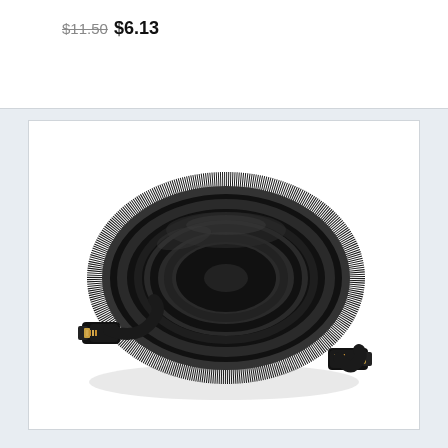$11.50 $6.13
[Figure (photo): A coiled black HDMI cable with gold-tipped connectors visible at each end, photographed on a white background.]